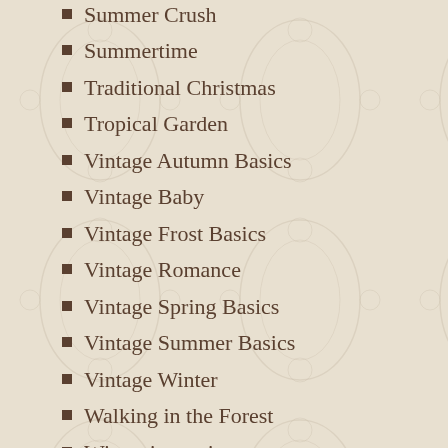Summer Crush
Summertime
Traditional Christmas
Tropical Garden
Vintage Autumn Basics
Vintage Baby
Vintage Frost Basics
Vintage Romance
Vintage Spring Basics
Vintage Summer Basics
Vintage Winter
Walking in the Forest
Winter is coming
Store finder
Australia
Austria